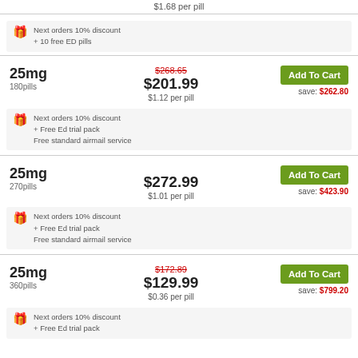$1.68 per pill
Next orders 10% discount + 10 free ED pills
25mg 180pills
$268.65 $201.99 $1.12 per pill
Add To Cart save: $262.80
Next orders 10% discount + Free Ed trial pack Free standard airmail service
25mg 270pills
$272.99 $1.01 per pill
Add To Cart save: $423.90
Next orders 10% discount + Free Ed trial pack Free standard airmail service
25mg 360pills
$172.89 $129.99 $0.36 per pill
Add To Cart save: $799.20
Next orders 10% discount + Free Ed trial pack